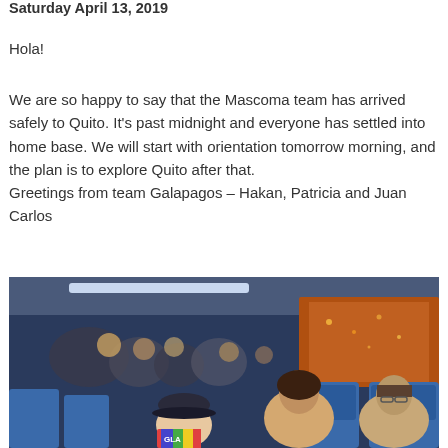Saturday April 13, 2019
Hola!
We are so happy to say that the Mascoma team has arrived safely to Quito. It’s past midnight and everyone has settled into home base. We will start with orientation tomorrow morning, and the plan is to explore Quito after that.
Greetings from team Galapagos – Hakan, Patricia and Juan Carlos
[Figure (photo): Group photo of the Mascoma team seated inside a bus with blue seats, taken at night. A person in front holds a colorful GLA bag. Several smiling people visible in the seats.]